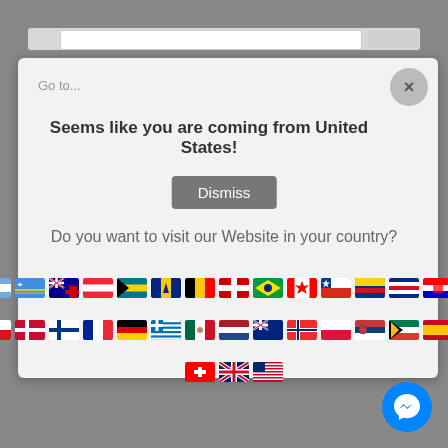Go to...
Seems like you are coming from United States!
Dismiss
Do you want to visit our Website in your country?
[Figure (illustration): Country flag icons in three rows representing various countries]
[Figure (logo): Facebook Messenger chat bubble icon button in blue circle]